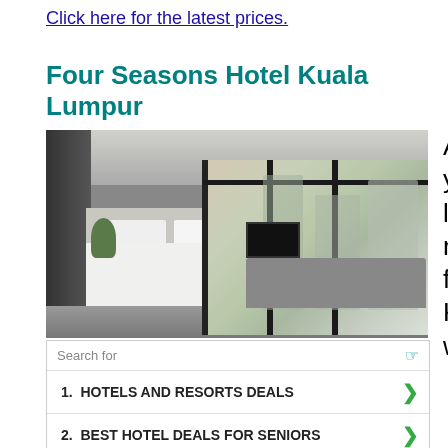Click here for the latest prices.
Four Seasons Hotel Kuala Lumpur
[Figure (photo): Hotel room interior of Four Seasons Hotel Kuala Lumpur showing a luxury bedroom with white bed linens, floor-to-ceiling windows overlooking the Kuala Lumpur skyline with tall residential towers and greenery]
Are you looking for a KL wher
[Figure (infographic): Yahoo Search sponsored advertisement box with 'Search for' header, eye icon, listing: 1. HOTELS AND RESORTS DEALS, 2. BEST HOTEL DEALS FOR SENIORS, with green chevron arrows, and Yahoo! Search | Sponsored footer with send icon]